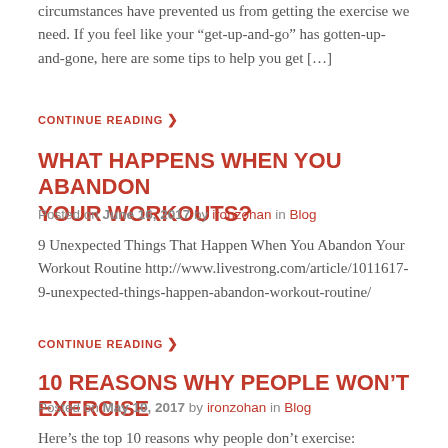circumstances have prevented us from getting the exercise we need. If you feel like your “get-up-and-go” has gotten-up-and-gone, here are some tips to help you get […]
CONTINUE READING ›
WHAT HAPPENS WHEN YOU ABANDON YOUR WORKOUTS?
Posted on June 16, 2017 by ironzohan in Blog
9 Unexpected Things That Happen When You Abandon Your Workout Routine http://www.livestrong.com/article/1011617-9-unexpected-things-happen-abandon-workout-routine/
CONTINUE READING ›
10 REASONS WHY PEOPLE WON’T EXERCISE
Posted on May 10, 2017 by ironzohan in Blog
Here’s the top 10 reasons why people don’t exercise: